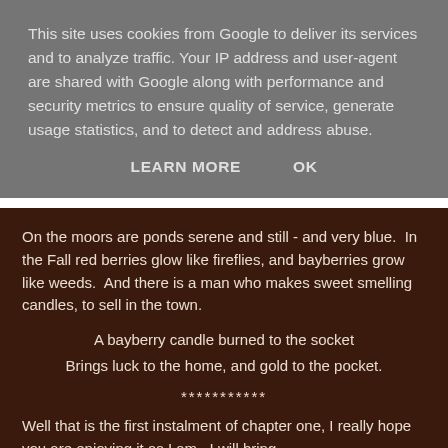This site uses cookies from Google to deliver its services and to analyze traffic. Your IP address and user-agent are shared with Google along with performance and security metrics to ensure quality of service, generate usage statistics, and to detect and address abuse.
LEARN MORE    OK
On the moors are ponds serene and still - and very blue.  In the Fall red berries glow like fireflies, and bayberries grow like weeds.  And there is a man who makes sweet smelling candles, to sell in the town.
A bayberry candle burned to the socket
Brings luck to the home, and gold to the pocket.
***********
Well that is the first instalment of chapter one, I really hope you are enjoying it as I am.  I will bring